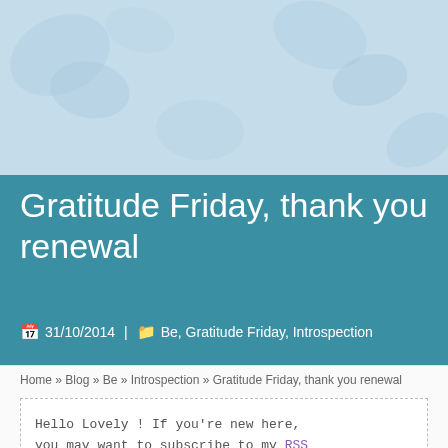[Figure (illustration): Light blue decorative banner background with leaf/petal shapes]
Gratitude Friday, thank you renewal
31/10/2014 | Be, Gratitude Friday, Introspection
Home » Blog » Be » Introspection » Gratitude Friday, thank you renewal
Hello Lovely ! If you're new here, you may want to subscribe to my RSS feed. Thanks for stopping by!